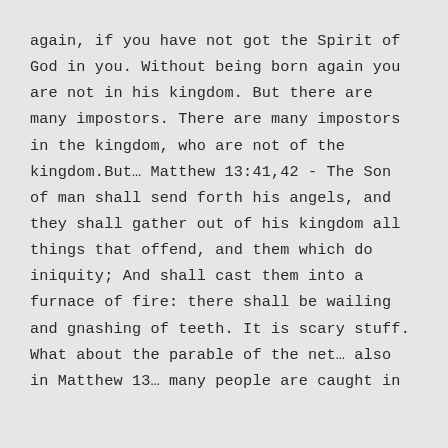again, if you have not got the Spirit of God in you. Without being born again you are not in his kingdom. But there are many impostors. There are many impostors in the kingdom, who are not of the kingdom.But… Matthew 13:41,42 - The Son of man shall send forth his angels, and they shall gather out of his kingdom all things that offend, and them which do iniquity; And shall cast them into a furnace of fire: there shall be wailing and gnashing of teeth. It is scary stuff. What about the parable of the net… also in Matthew 13… many people are caught in